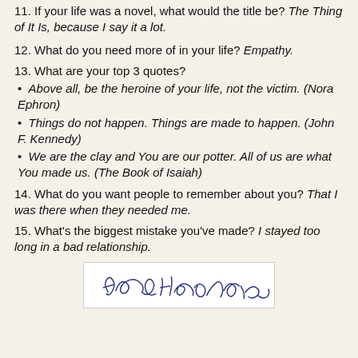11. If your life was a novel, what would the title be? The Thing of It Is, because I say it a lot.
12. What do you need more of in your life? Empathy.
13. What are your top 3 quotes?
• Above all, be the heroine of your life, not the victim. (Nora Ephron)
• Things do not happen. Things are made to happen. (John F. Kennedy)
• We are the clay and You are our potter. All of us are what You made us. (The Book of Isaiah)
14. What do you want people to remember about you? That I was there when they needed me.
15. What's the biggest mistake you've made? I stayed too long in a bad relationship.
[Figure (other): A handwritten signature in blue ink on a white background, partially visible at the bottom of the page.]